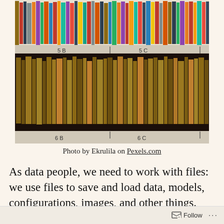[Figure (photo): Photo of library bookshelves showing two rows of books. Top row is labeled '5B' on the left and '5C' on the right. Bottom row shows old, worn books and is labeled '6B' on the left and '6C' on the right.]
Photo by Ekrulila on Pexels.com
As data people, we need to work with files: we use files to save and load data, models, configurations, images, and other things. When possible, I prefer working with local files because it's fast and straightforward. However,